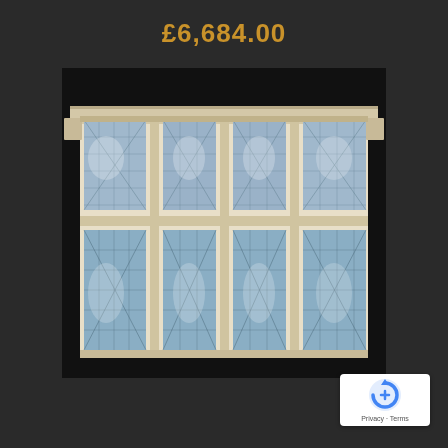£6,684.00
[Figure (illustration): Architectural illustration of a traditional multi-pane window unit with diamond-pattern leaded glass panels, stone surround and cornice moulding. Eight panes in two rows of four, rendered in a watercolour/pencil style on white background, set against black background.]
[Figure (logo): Google reCAPTCHA badge with logo and Privacy - Terms text]